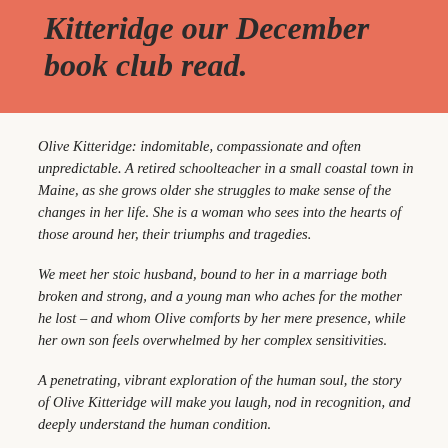Kitteridge our December book club read.
Olive Kitteridge: indomitable, compassionate and often unpredictable. A retired schoolteacher in a small coastal town in Maine, as she grows older she struggles to make sense of the changes in her life. She is a woman who sees into the hearts of those around her, their triumphs and tragedies.
We meet her stoic husband, bound to her in a marriage both broken and strong, and a young man who aches for the mother he lost – and whom Olive comforts by her mere presence, while her own son feels overwhelmed by her complex sensitivities.
A penetrating, vibrant exploration of the human soul, the story of Olive Kitteridge will make you laugh, nod in recognition, and deeply understand the human condition.